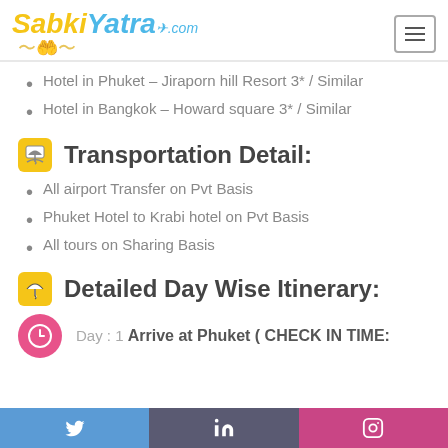SabkiYatra.com
Hotel in Phuket – Jiraporn hill Resort 3* / Similar
Hotel in Bangkok – Howard square 3* / Similar
Transportation Detail:
All airport Transfer on Pvt Basis
Phuket Hotel to Krabi hotel on Pvt Basis
All tours on Sharing Basis
Detailed Day Wise Itinerary:
Day : 1 Arrive at Phuket ( CHECK IN TIME:
Twitter | LinkedIn | Instagram